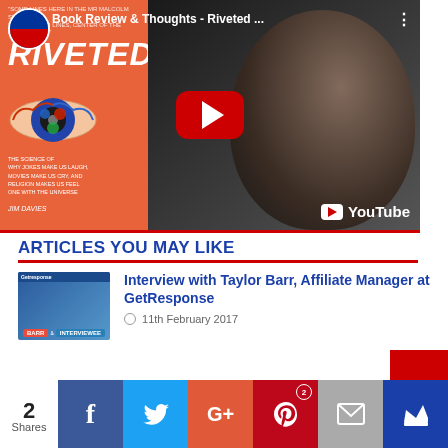[Figure (screenshot): YouTube video thumbnail showing book 'Riveted' by Jim Davies on the left with an orange book cover, and a smiling man on the right. Video title reads 'Book Review & Thoughts - Riveted ...' with a YouTube play button in the center.]
ARTICLES YOU MAY LIKE
[Figure (screenshot): Thumbnail image for article about Interview with Taylor Barr, showing two people and GetResponse logos]
Interview with Taylor Barr, Affiliate Manager at GetResponse
11th February 2017
[Figure (infographic): Share bar at bottom showing: 2 Shares, Facebook, Twitter, Google+, Pinterest (2), Email, and crown/bookmark icon buttons]